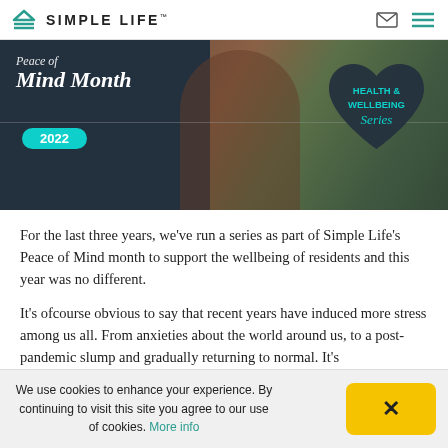SIMPLE LIFE™
[Figure (photo): Banner image for Peace of Mind Month 2022, Health & Wellbeing Series. Dark overlay on left with italic white text reading 'Peace of Mind Month' and a teal badge showing '2022'. Center shows a woman in a plaid coat outdoors. Right side has a dark heart shape with teal text 'HEALTH & WELLBEING Series'.]
For the last three years, we've run a series as part of Simple Life's Peace of Mind month to support the wellbeing of residents and this year was no different.
It's ofcourse obvious to say that recent years have induced more stress among us all. From anxieties about the world around us, to a post-pandemic slump and gradually returning to normal. It's
We use cookies to enhance your experience. By continuing to visit this site you agree to our use of cookies. More info